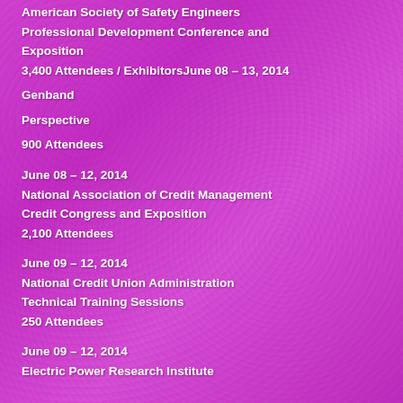American Society of Safety Engineers
Professional Development Conference and Exposition
3,400 Attendees  / ExhibitorsJune 08 – 13, 2014
Genband
Perspective
900 Attendees
June 08 – 12, 2014
National Association of Credit Management
Credit Congress and Exposition
2,100 Attendees
June 09 – 12, 2014
National Credit Union Administration
Technical Training Sessions
250 Attendees
June 09 – 12, 2014
Electric Power Research Institute